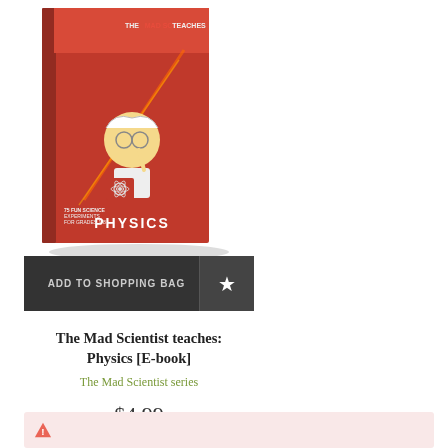[Figure (photo): Book cover of 'The Mad Scientist Teaches Physics' E-book, featuring a cartoon mad scientist on a red background with an atom symbol, laser beams, and text reading PHYSICS and '75 fun science experiments for grades 1-8'.]
ADD TO SHOPPING BAG
The Mad Scientist teaches: Physics [E-book]
The Mad Scientist series
$4.99